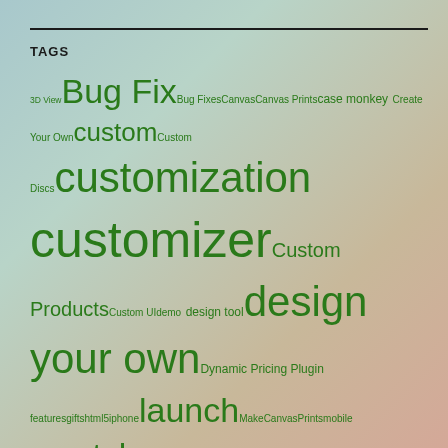TAGS
3D View Bug Fix Bug Fixes Canvas Canvas Prints case monkey Create Your Own custom Custom Discs customization customizer Custom Products Custom UIdemo design tool design your own Dynamic Pricing Plugin features gifts html5 iphone launch MakeCanvasPrints mobile mystyle mystyle custom product designer MyStyle Platform Feature new features personalization personalize personalizer platform Plugin Plugins Print Files printing Ultimate Frisbee Update Updates Vehicle Advertising WooCommerce Woo Commerce WooCommerce Dynamic Pricing Wordpress Wordpress Plugin